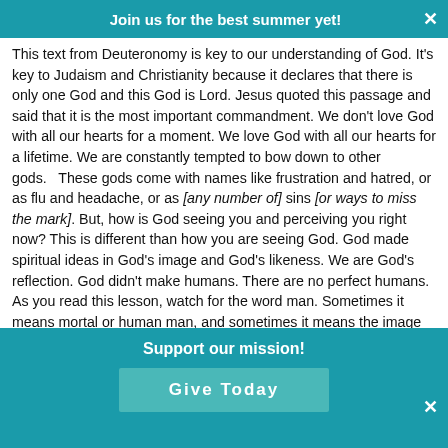Join us for the best summer yet!
This text from Deuteronomy is key to our understanding of God. It's key to Judaism and Christianity because it declares that there is only one God and this God is Lord. Jesus quoted this passage and said that it is the most important commandment. We don't love God with all our hearts for a moment. We love God with all our hearts for a lifetime. We are constantly tempted to bow down to other gods.   These gods come with names like frustration and hatred, or as flu and headache, or as [any number of] sins [or ways to miss the mark]. But, how is God seeing you and perceiving you right now? This is different than how you are seeing God. God made spiritual ideas in God's image and God's likeness. We are God's reflection. God didn't make humans. There are no perfect humans. As you read this lesson, watch for the word man. Sometimes it means mortal or human man, and sometimes it means the image and likeness of God.
Support our mission!
Give Today